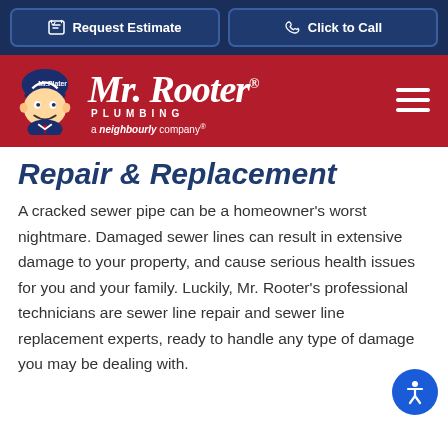Request Estimate | Click to Call
[Figure (logo): Mr. Rooter Plumbing logo with mascot character on red background, hamburger menu icon on right. 'a Neighbourly company' tagline below.]
Repair & Replacement
A cracked sewer pipe can be a homeowner's worst nightmare. Damaged sewer lines can result in extensive damage to your property, and cause serious health issues for you and your family. Luckily, Mr. Rooter's professional technicians are sewer line repair and sewer line replacement experts, ready to handle any type of damage you may be dealing with.